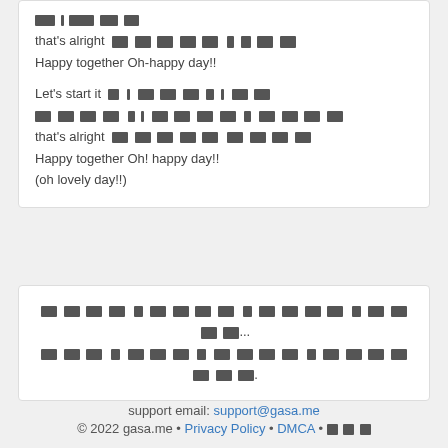[Korean text] that's alright [Korean text] Happy together Oh-happy day!! Let's start it [Korean text] [Korean text] that's alright [Korean text] Happy together Oh! happy day!! (oh lovely day!!)
[Korean text continued lyrics]
support email: support@gasa.me © 2022 gasa.me • Privacy Policy • DMCA • [Korean]